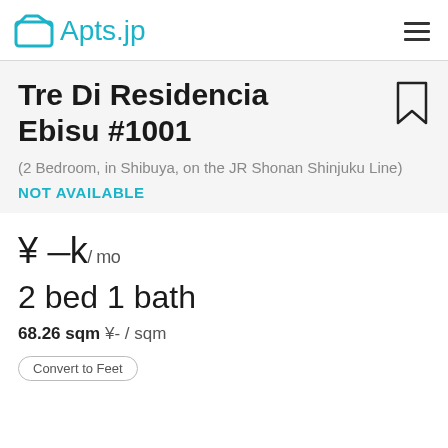Apts.jp
Tre Di Residencia Ebisu #1001
(2 Bedroom, in Shibuya, on the JR Shonan Shinjuku Line)
NOT AVAILABLE
¥ ─ k / mo
2 bed 1 bath
68.26 sqm  ¥- / sqm
Convert to Feet